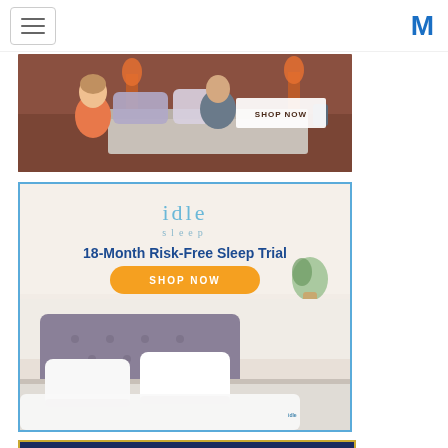Navigation bar with hamburger menu and M logo
[Figure (photo): Advertisement banner showing a couple on a mattress with pillows in a warm-toned bedroom setting, with a 'SHOP NOW' button on the right side]
[Figure (photo): Idle Sleep advertisement with light blue 'idle sleep' logo text, '18-Month Risk-Free Sleep Trial' headline in dark blue, orange 'SHOP NOW' button, and a bed with white bedding and gray tufted headboard]
[Figure (photo): Partial advertisement with gold border and navy blue background, partially visible at bottom of page]